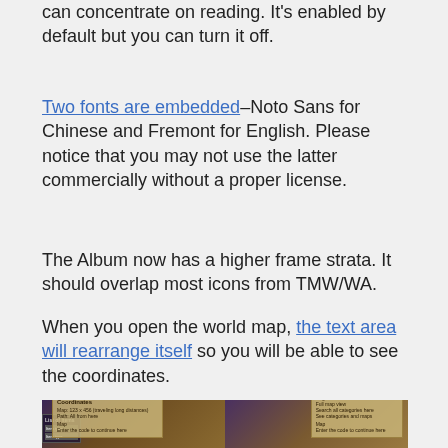can concentrate on reading. It's enabled by default but you can turn it off.
Two fonts are embedded–Noto Sans for Chinese and Fremont for English. Please notice that you may not use the latter commercially without a proper license.
The Album now has a higher frame strata. It should overlap most icons from TMW/WA.
When you open the world map, the text area will rearrange itself so you will be able to see the coordinates.
[Figure (screenshot): Two side-by-side screenshots of a fantasy game world map showing UI text panels with coordinates and dialog boxes]